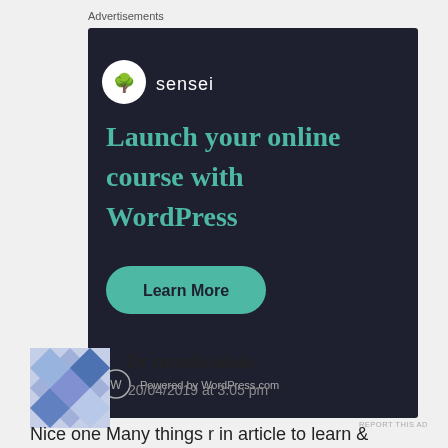Advertisements
[Figure (illustration): Sensei advertisement banner: dark background with sensei logo, headline 'Launch your online course with WordPress', a teal 'Learn More' button, and 'Powered by WordPress.com' at the bottom.]
REPORT THIS AD
[Figure (illustration): Avatar image for Dr mrudulalala - blue and white diamond/quilt pattern avatar]
Dr mrudulalala
20/04/2019 at 3:05 pm
Nice one Many things r in article to learn &